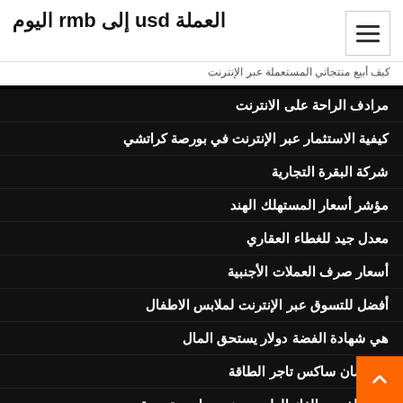العملة usd إلى rmb اليوم
كيف أبيع منتجاتي المستعملة عبر الإنترنت
مرادف الراحة على الانترنت
كيفية الاستثمار عبر الإنترنت في بورصة كراتشي
شركة البقرة التجارية
مؤشر أسعار المستهلك الهند
معدل جيد للغطاء العقاري
أسعار صرف العملات الأجنبية
أفضل للتسوق عبر الإنترنت لملابس الاطفال
هي شهادة الفضة دولار يستحق المال
جولدمان ساكس تاجر الطاقة
زيت الفحم والغاز الطبيعي هي موارد متجددة